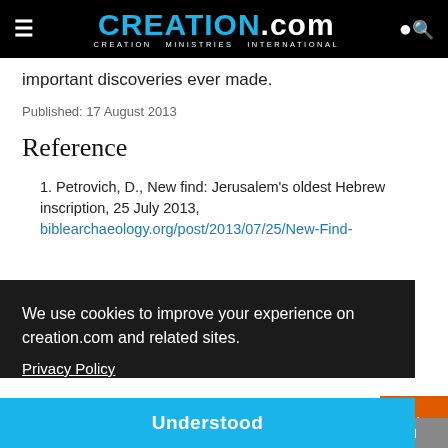CREATION.com — CREATION MINISTRIES INTERNATIONAL
important discoveries ever made.
Published: 17 August 2013
Reference
1. Petrovich, D., New find: Jerusalem's oldest Hebrew inscription, 25 July 2013, biblearchaeology.org/post/2013/07/25/New-Find-...
We use cookies to improve your experience on creation.com and related sites. Privacy Policy
Understood
Related Articles